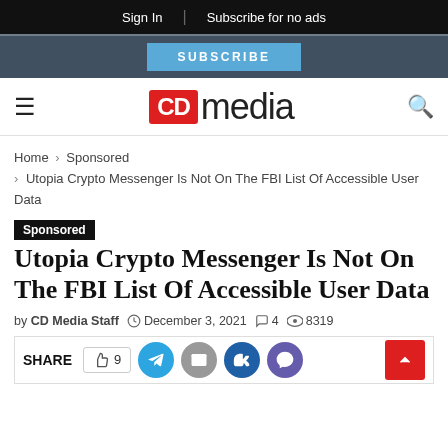Sign In | Subscribe for no ads
SUBSCRIBE
[Figure (logo): CD Media logo — red box with white CD letters followed by 'media' in dark text]
Home > Sponsored > Utopia Crypto Messenger Is Not On The FBI List Of Accessible User Data
Sponsored
Utopia Crypto Messenger Is Not On The FBI List Of Accessible User Data
by CD Media Staff  December 3, 2021  4  8319
SHARE  9